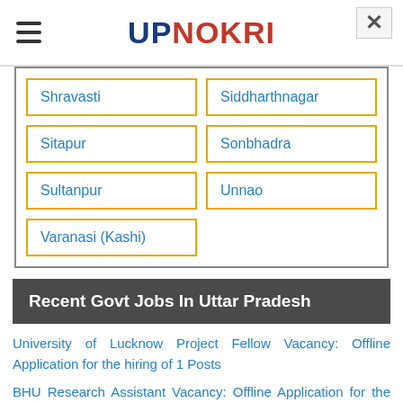UPNOKRI
| Shravasti | Siddharthnagar |
| Sitapur | Sonbhadra |
| Sultanpur | Unnao |
| Varanasi (Kashi) |  |
Recent Govt Jobs In Uttar Pradesh
University of Lucknow Project Fellow Vacancy: Offline Application for the hiring of 1 Posts
BHU Research Assistant Vacancy: Offline Application for the hiring of 1 Posts
ECL Assistant Junior Engineer Steno Vacancy: Online